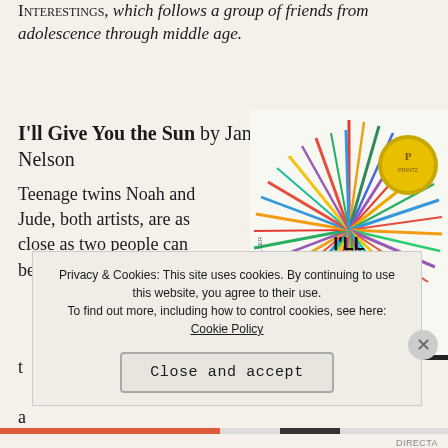INTERESTINGS, which follows a group of friends from adolescence through middle age.
I'll Give You the Sun by Jandy Nelson
[Figure (illustration): Book cover of 'I'll Give You the Sun' by Jandy Nelson, showing colorful radiating lines on a white background with bold black title text, a gold Printz Award medallion, and 'A New York Times Bestseller' text along the spine.]
Teenage twins Noah and Jude, both artists, are as close as two people can be, but they compete for t... a...
Privacy & Cookies: This site uses cookies. By continuing to use this website, you agree to their use. To find out more, including how to control cookies, see here: Cookie Policy
Close and accept